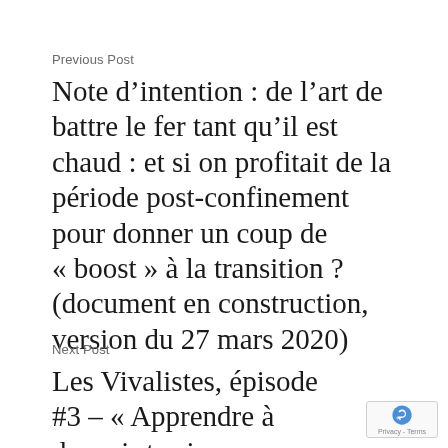Previous Post
Note d’intention : de l’art de battre le fer tant qu’il est chaud : et si on profitait de la période post-confinement pour donner un coup de « boost » à la transition ? (document en construction, version du 27 mars 2020)
Next Post
Les Vivalistes, épisode #3 – « Apprendre à devenir terriens »